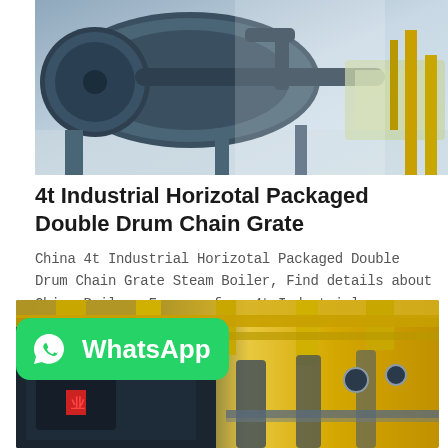[Figure (photo): Industrial boiler equipment in a factory setting, showing large cylindrical boiler machinery with blue/grey metal components and piping]
4t Industrial Horizotal Packaged Double Drum Chain Grate
China 4t Industrial Horizotal Packaged Double Drum Chain Grate Steam Boiler, Find details about China Boiler, Furnace from 4t Industrial Horizotal Packaged Double Drum Chain Grate Steam Boiler - Wuxi Zozen Boilers Co., Ltd.
Get Price
[Figure (photo): Industrial boiler room with yellow pipes and metal structures, with a WhatsApp contact badge overlay in green]